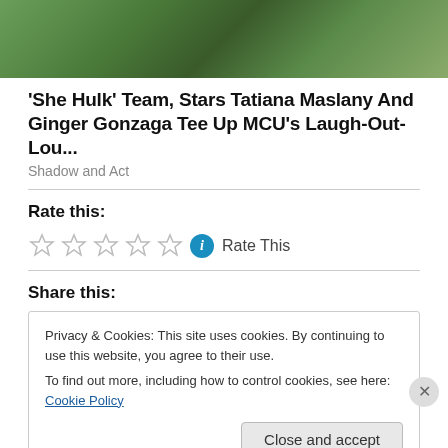[Figure (photo): Partial image of She-Hulk (green character) at top of page]
'She Hulk' Team, Stars Tatiana Maslany And Ginger Gonzaga Tee Up MCU's Laugh-Out-Lou...
Shadow and Act
Rate this:
[Figure (other): Five empty star rating widgets with info icon and Rate This text]
Share this:
Privacy & Cookies: This site uses cookies. By continuing to use this website, you agree to their use.
To find out more, including how to control cookies, see here: Cookie Policy